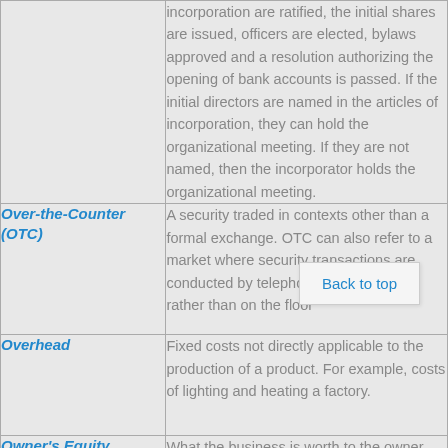| Term | Definition |
| --- | --- |
|  | incorporation are ratified, the initial shares are issued, officers are elected, bylaws approved and a resolution authorizing the opening of bank accounts is passed. If the initial directors are named in the articles of incorporation, they can hold the organizational meeting. If they are not named, then the incorporator holds the organizational meeting. |
| Over-the-Counter (OTC) | A security traded in contexts other than a formal exchange. OTC can also refer to a market where security transactions are conducted by telephone and computer, rather than on the floor |
| Overhead | Fixed costs not directly applicable to the production of a product. For example, costs of lighting and heating a factory. |
| Owner's Equity | What the business is worth to the owner. |